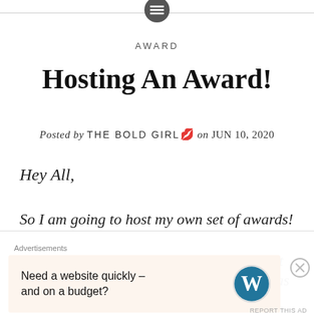AWARD
Hosting An Award!
Posted by THE BOLD GIRL 💋 on JUN 10, 2020
Hey All,
So I am going to host my own set of awards!
This thought came out of nowhere. I mean, it wasn't really planned. I wanted to host one as unique as
Advertisements
Need a website quickly – and on a budget?